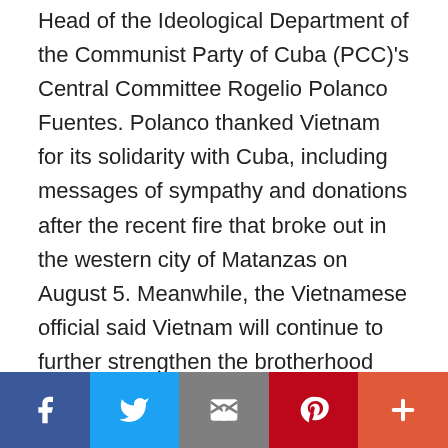Head of the Ideological Department of the Communist Party of Cuba (PCC)'s Central Committee Rogelio Polanco Fuentes. Polanco thanked Vietnam for its solidarity with Cuba, including messages of sympathy and donations after the recent fire that broke out in the western city of Matanzas on August 5. Meanwhile, the Vietnamese official said Vietnam will continue to further strengthen the brotherhood ties with Cuba. The two sides exchanged information related to the political theory, and popularization and protection of the ideological foundation of the Party, journalism, publishing, culture, science, and education; and information about achievements
[Figure (other): Social sharing bar with Facebook, Twitter, Email, Pinterest, and More buttons]